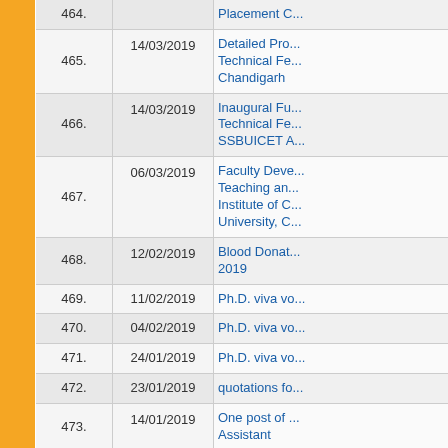| No. | Date | Description |
| --- | --- | --- |
| 464. |  | Placement C... |
| 465. | 14/03/2019 | Detailed Pro... Technical Fe... Chandigarh |
| 466. | 14/03/2019 | Inaugural Fu... Technical Fe... SSBUICET A... |
| 467. | 06/03/2019 | Faculty Deve... Teaching an... Institute of C... University, C... |
| 468. | 12/02/2019 | Blood Donat... 2019 |
| 469. | 11/02/2019 | Ph.D. viva vo... |
| 470. | 04/02/2019 | Ph.D. viva vo... |
| 471. | 24/01/2019 | Ph.D. viva vo... |
| 472. | 23/01/2019 | quotations fo... |
| 473. | 14/01/2019 | One post of ... Assistant |
| 474. | 02/01/2019 | UGC MRP R... |
| 475. | 02/11/2018 | Proposed da... |